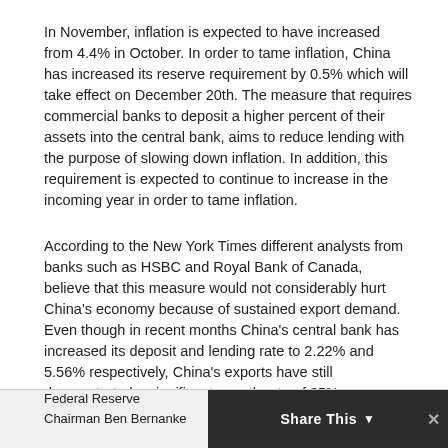In November, inflation is expected to have increased from 4.4% in October. In order to tame inflation, China has increased its reserve requirement by 0.5% which will take effect on December 20th. The measure that requires commercial banks to deposit a higher percent of their assets into the central bank, aims to reduce lending with the purpose of slowing down inflation. In addition, this requirement is expected to continue to increase in the incoming year in order to tame inflation.
According to the New York Times different analysts from banks such as HSBC and Royal Bank of Canada, believe that this measure would not considerably hurt China's economy because of sustained export demand. Even though in recent months China's central bank has increased its deposit and lending rate to 2.22% and 5.56% respectively, China's exports have still demonstrated a significant growth rate of 35% year over year.
– Wellington Rodriguez
Inflation Risk
Federal Reserve Chairman Ben Bernanke